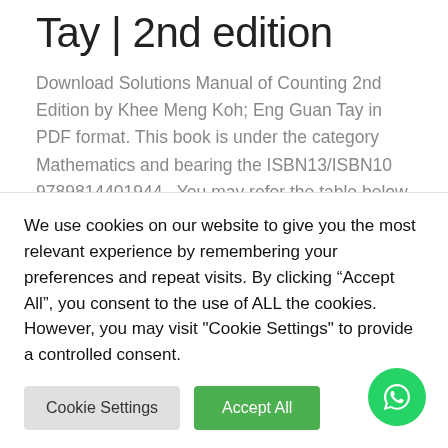Tay | 2nd edition
Download Solutions Manual of Counting 2nd Edition by Khee Meng Koh; Eng Guan Tay in PDF format. This book is under the category Mathematics and bearing the ISBN13/ISBN10 9789814401944 . You may refer the table below for additional details of the book.
Download Sample
We use cookies on our website to give you the most relevant experience by remembering your preferences and repeat visits. By clicking “Accept All”, you consent to the use of ALL the cookies. However, you may visit "Cookie Settings" to provide a controlled consent.
Cookie Settings
Accept All